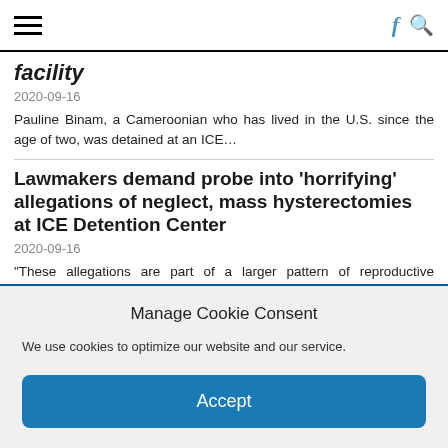Navigation bar with hamburger menu, Facebook icon, and search icon
facility
2020-09-16
Pauline Binam, a Cameroonian who has lived in the U.S. since the age of two, was detained at an ICE...
Lawmakers demand probe into ‘horrifying’ allegations of neglect, mass hysterectomies at ICE Detention Center
2020-09-16
"These allegations are part of a larger pattern of reproductive injustices conducted by ICE officials." by Lisa Newcomb, staff writer...
ICE deported a woman who accused guards of sexual assault while the Feds were still investigating the
Manage Cookie Consent
We use cookies to optimize our website and our service.
Accept